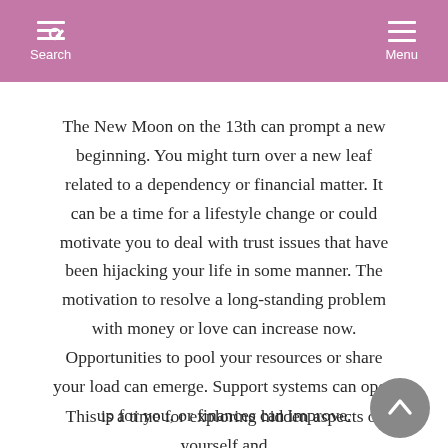Search  Menu
The New Moon on the 13th can prompt a new beginning. You might turn over a new leaf related to a dependency or financial matter. It can be a time for a lifestyle change or could motivate you to deal with trust issues that have been hijacking your life in some manner. The motivation to resolve a long-standing problem with money or love can increase now. Opportunities to pool your resources or share your load can emerge. Support systems can open up for you, or finances can improve.
This is a time for exploring hidden aspects of yourself and